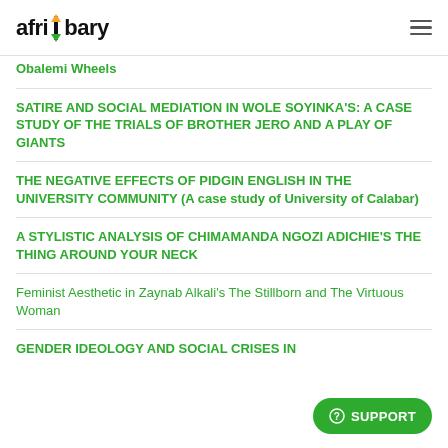afribary
Obalemi Wheels
SATIRE AND SOCIAL MEDIATION IN WOLE SOYINKA'S: A CASE STUDY OF THE TRIALS OF BROTHER JERO AND A PLAY OF GIANTS
THE NEGATIVE EFFECTS OF PIDGIN ENGLISH IN THE UNIVERSITY COMMUNITY (A case study of University of Calabar)
A STYLISTIC ANALYSIS OF CHIMAMANDA NGOZI ADICHIE'S THE THING AROUND YOUR NECK
Feminist Aesthetic in Zaynab Alkali's The Stillborn and The Virtuous Woman
GENDER IDEOLOGY AND SOCIAL CRISES IN